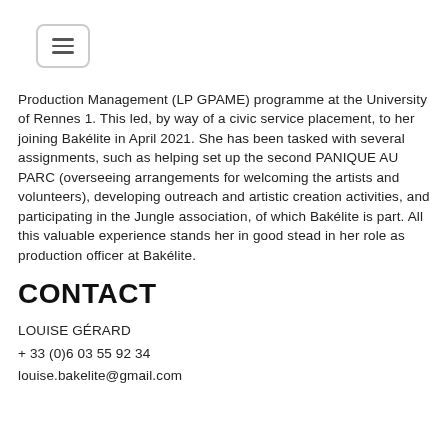[Figure (other): Hamburger menu button icon with three horizontal lines inside a rounded rectangle border]
Production Management (LP GPAME) programme at the University of Rennes 1. This led, by way of a civic service placement, to her joining Bakélite in April 2021. She has been tasked with several assignments, such as helping set up the second PANIQUE AU PARC (overseeing arrangements for welcoming the artists and volunteers), developing outreach and artistic creation activities, and participating in the Jungle association, of which Bakélite is part. All this valuable experience stands her in good stead in her role as production officer at Bakélite.
CONTACT
LOUISE GÉRARD
+ 33 (0)6 03 55 92 34
louise.bakelite@gmail.com